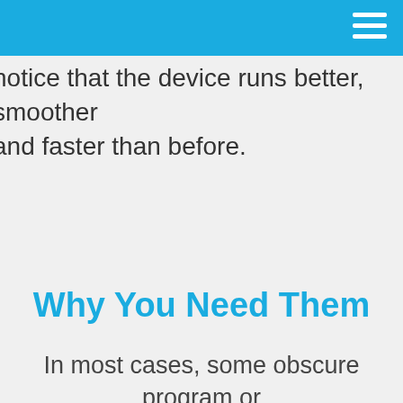notice that the device runs better, smoother and faster than before.
Why You Need Them
In most cases, some obscure program or